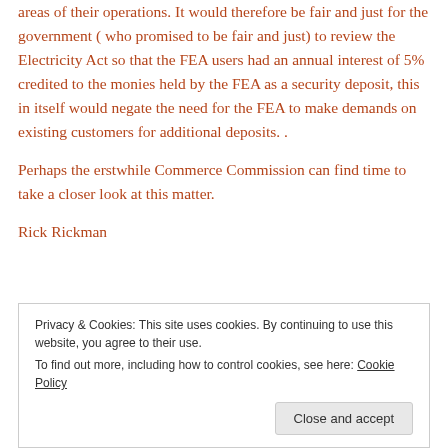areas of their operations. It would therefore be fair and just for the government ( who promised to be fair and just) to review the Electricity Act so that the FEA users had an annual interest of 5% credited to the monies held by the FEA as a security deposit, this in itself would negate the need for the FEA to make demands on existing customers for additional deposits. .
Perhaps the erstwhile Commerce Commission can find time to take a closer look at this matter.
Rick Rickman
Privacy & Cookies: This site uses cookies. By continuing to use this website, you agree to their use. To find out more, including how to control cookies, see here: Cookie Policy